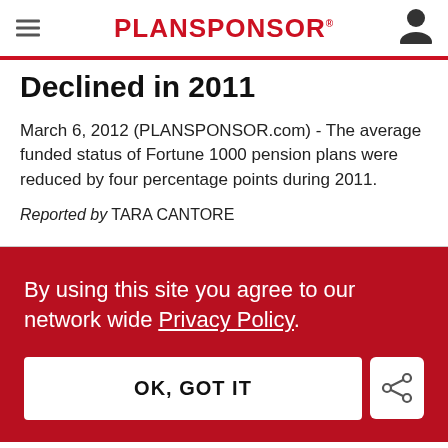PLANSPONSOR
Declined in 2011
March 6, 2012 (PLANSPONSOR.com) - The average funded status of Fortune 1000 pension plans were reduced by four percentage points during 2011.
Reported by TARA CANTORE
By using this site you agree to our network wide Privacy Policy.
OK, GOT IT